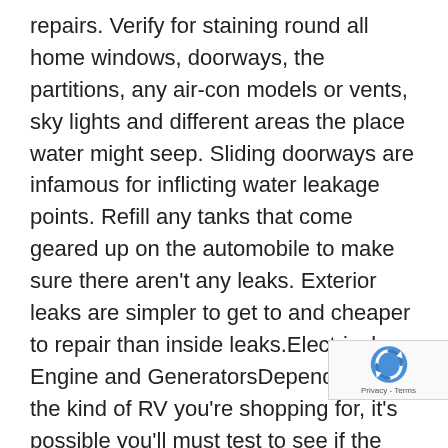repairs. Verify for staining round all home windows, doorways, the partitions, any air-con models or vents, sky lights and different areas the place water might seep. Sliding doorways are infamous for inflicting water leakage points. Refill any tanks that come geared up on the automobile to make sure there aren't any leaks. Exterior leaks are simpler to get to and cheaper to repair than inside leaks.Electrical, Engine and GeneratorsDepending on the kind of RV you're shopping for, it's possible you'll must test to see if the generator is operating in good situation. If the generator is shot, a substitute will be extraordinarily pricey and never value it in the long term. Be certain that all electrical methods are updated, in good situation and operating because it ought to. The identical goes for any home equipment that include the motorhome